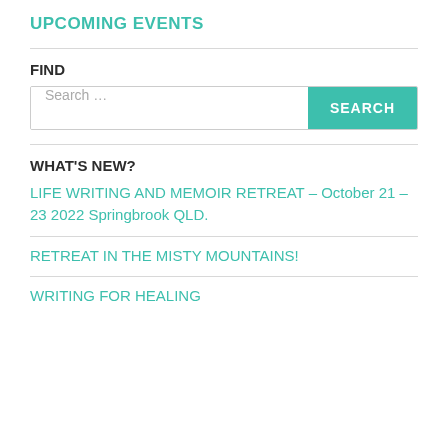UPCOMING EVENTS
FIND
Search …
WHAT'S NEW?
LIFE WRITING AND MEMOIR RETREAT – October 21 – 23 2022 Springbrook QLD.
RETREAT IN THE MISTY MOUNTAINS!
WRITING FOR HEALING